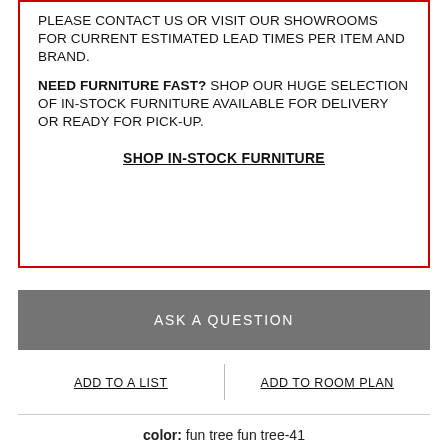LEAD TIMES FOR SPECIAL ORDER ITEMS VARY. PLEASE CONTACT US OR VISIT OUR SHOWROOMS FOR CURRENT ESTIMATED LEAD TIMES PER ITEM AND BRAND.
NEED FURNITURE FAST? SHOP OUR HUGE SELECTION OF IN-STOCK FURNITURE AVAILABLE FOR DELIVERY OR READY FOR PICK-UP.
SHOP IN-STOCK FURNITURE
ASK A QUESTION
ADD TO A LIST
ADD TO ROOM PLAN
color: fun tree fun tree-41